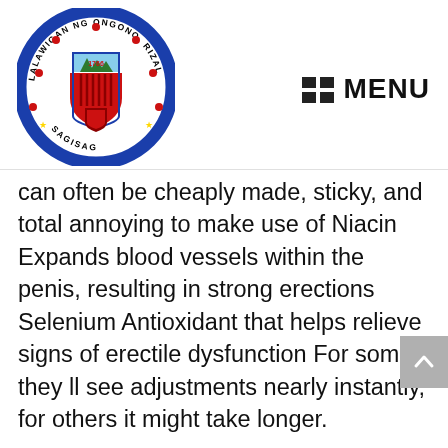[Figure (logo): Circular seal/logo of Probinsya ng Rizal with text 'LALAWIGAN NG ONGONO, RIZAL' around the border and a shield emblem in the center with date 1766 and decorative elements including stars]
MENU
can often be cheaply made, sticky, and total annoying to make use of Niacin Expands blood vessels within the penis, resulting in strong erections Selenium Antioxidant that helps relieve signs of erectile dysfunction For some, they ll see adjustments nearly instantly, for others it might take longer.
Max Performer accommodates potent ingredients that assist males Rhino Pills obtain and maintain impressive erections These elements can increase blood